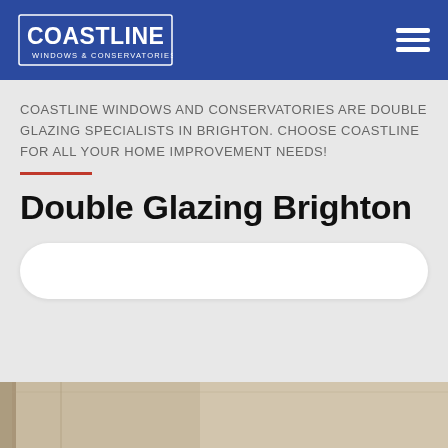Coastline Windows & Conservatories — navigation header with logo and hamburger menu
COASTLINE WINDOWS AND CONSERVATORIES ARE DOUBLE GLAZING SPECIALISTS IN BRIGHTON. CHOOSE COASTLINE FOR ALL YOUR HOME IMPROVEMENT NEEDS!
Double Glazing Brighton
[Figure (screenshot): White rounded pill-shaped search input bar on grey background]
[Figure (photo): Partial bottom photo showing what appears to be a door or window frame, cropped at the bottom of the page]